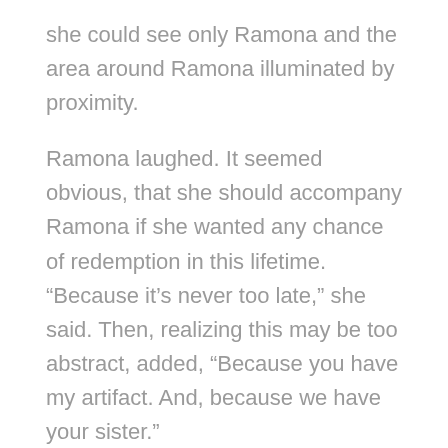she could see only Ramona and the area around Ramona illuminated by proximity.
Ramona laughed. It seemed obvious, that she should accompany Ramona if she wanted any chance of redemption in this lifetime. “Because it’s never too late,” she said. Then, realizing this may be too abstract, added, “Because you have my artifact. And, because we have your sister.”
Her sister? The implication of this statement was so ridiculous that Agnes chuckled cynically at the predicament she found herself in—